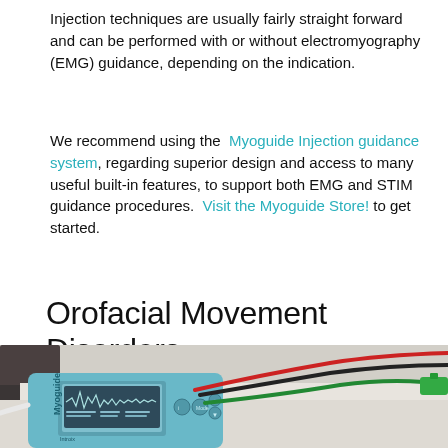Injection techniques are usually fairly straight forward and can be performed with or without electromyography (EMG) guidance, depending on the indication.
We recommend using the Myoguide Injection guidance system, regarding superior design and access to many useful built-in features, to support both EMG and STIM guidance procedures. Visit the Myoguide Store! to get started.
Orofacial Movement Disorders
[Figure (photo): Photo of a Myoguide EMG device with colored electrode cables (red, black, green) on a white surface]